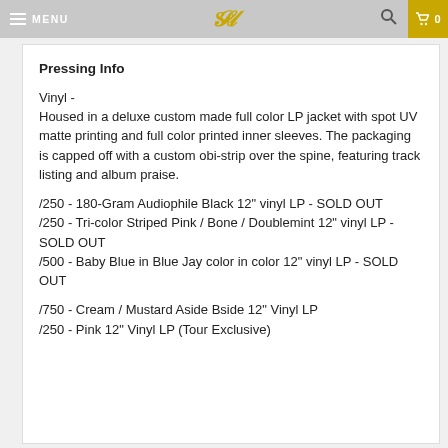MENU | [logo SL] | [search] | 0
Pressing Info
Vinyl -
Housed in a deluxe custom made full color LP jacket with spot UV matte printing and full color printed inner sleeves. The packaging is capped off with a custom obi-strip over the spine, featuring track listing and album praise.
/250 - 180-Gram Audiophile Black 12" vinyl LP - SOLD OUT
/250 - Tri-color Striped Pink / Bone / Doublemint 12" vinyl LP - SOLD OUT
/500 - Baby Blue in Blue Jay color in color 12" vinyl LP - SOLD OUT
/750 - Cream / Mustard Aside Bside 12" Vinyl LP
/250 - Pink 12" Vinyl LP (Tour Exclusive)